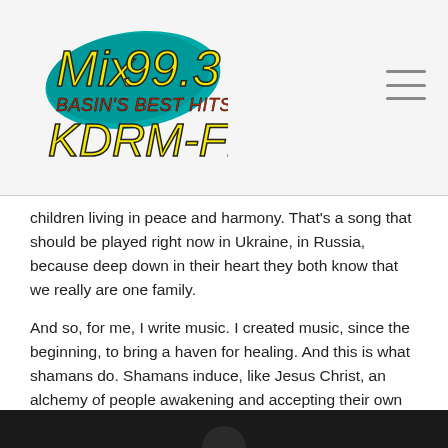[Figure (logo): Mix 99.3 Basin's Best Hits! KDRM-FM radio station logo with yellow stylized text on teal/blue background accent]
children living in peace and harmony. That's a song that should be played right now in Ukraine, in Russia, because deep down in their heart they both know that we really are one family.

And so, for me, I write music. I created music, since the beginning, to bring a haven for healing. And this is what shamans do. Shamans induce, like Jesus Christ, an alchemy of people awakening and accepting their own two things: their own divinity and their own light.
[Figure (photo): Dark/black image partially visible at bottom of page]